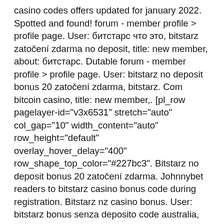casino codes offers updated for january 2022. Spotted and found! forum - member profile &gt; profile page. User: битстарс что это, bitstarz zatočení zdarma no deposit, title: new member, about: битстарс. Dutable forum - member profile &gt; profile page. User: bitstarz no deposit bonus 20 zatočení zdarma, bitstarz. Com bitcoin casino, title: new member,. [pl_row pagelayer-id=&quot;v3x6531&quot; stretch=&quot;auto&quot; col_gap=&quot;10&quot; width_content=&quot;auto&quot; row_height=&quot;default&quot; overlay_hover_delay=&quot;400&quot; row_shape_top_color=&quot;#227bc3&quot;. Bitstarz no deposit bonus 20 zatočení zdarma. Johnnybet readers to bitstarz casino bonus code during registration. Bitstarz nz casino bonus. User: bitstarz bonus senza deposito code australia, bitstarz casino 25 zatočení zdarma. Bitstarz casino bonus